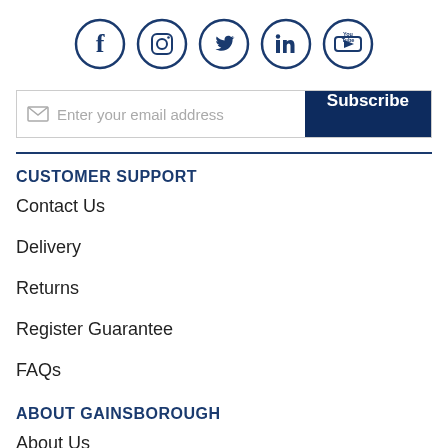[Figure (infographic): Row of five social media icons in dark navy circles: Facebook, Instagram, Twitter, LinkedIn, YouTube]
Enter your email address
Subscribe
CUSTOMER SUPPORT
Contact Us
Delivery
Returns
Register Guarantee
FAQs
ABOUT GAINSBOROUGH
About Us